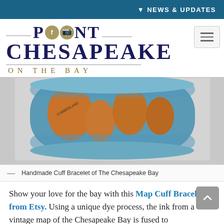▼ NEWS & UPDATES
POINT CHESAPEAKE ON THE BAY
[Figure (photo): Close-up photo of a handmade cuff bracelet featuring a vintage map of the Chesapeake Bay with teal blues and orange-brown land areas, displayed against a gray background.]
Handmade Cuff Bracelet of The Chesapeake Bay
Show your love for the bay with this Map Cuff Bracelet from Etsy. Using a unique dye process, the ink from a vintage map of the Chesapeake Bay is fused to